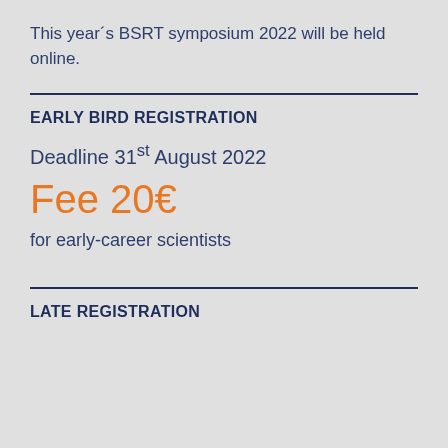This year´s BSRT symposium 2022 will be held online.
EARLY BIRD REGISTRATION
Deadline 31st August 2022
Fee 20€
for early-career scientists
LATE REGISTRATION